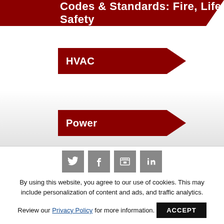Codes & Standards: Fire, Life Safety
HVAC
Power
[Figure (infographic): Social media icons: Twitter, Facebook, a video/slideshow icon, LinkedIn]
By using this website, you agree to our use of cookies. This may include personalization of content and ads, and traffic analytics.
Review our Privacy Policy for more information. ACCEPT